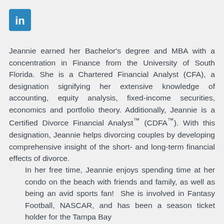[Figure (logo): LinkedIn logo: white 'in' text on teal/blue square background]
Jeannie earned her Bachelor's degree and MBA with a concentration in Finance from the University of South Florida. She is a Chartered Financial Analyst (CFA), a designation signifying her extensive knowledge of accounting, equity analysis, fixed-income securities, economics and portfolio theory. Additionally, Jeannie is a Certified Divorce Financial Analyst™ (CDFA™). With this designation, Jeannie helps divorcing couples by developing comprehensive insight of the short- and long-term financial effects of divorce.
In her free time, Jeannie enjoys spending time at her condo on the beach with friends and family, as well as being an avid sports fan!  She is involved in Fantasy Football, NASCAR, and has been a season ticket holder for the Tampa Bay Buccaneers since 1977 or So. But also loves other